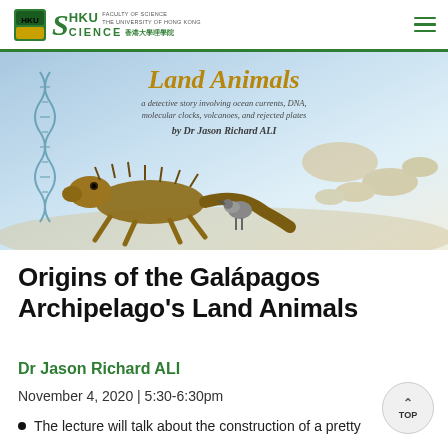HKU Science — Faculty of Science, The University of Hong Kong, 香港大學理學院
[Figure (illustration): Banner image for lecture on Origins of the Galapagos Archipelago's Land Animals, showing illustrated animals (iguana, bird), DNA helix, and Galapagos islands shapes. Text overlay: 'Land Animals: a detective story involving ocean currents, DNA, molecular clocks, volcanoes, and rejected plates' by Dr Jason Richard ALI]
Origins of the Galápagos Archipelago's Land Animals
Dr Jason Richard ALI
November 4, 2020 | 5:30-6:30pm
The lecture will talk about the construction of a pretty